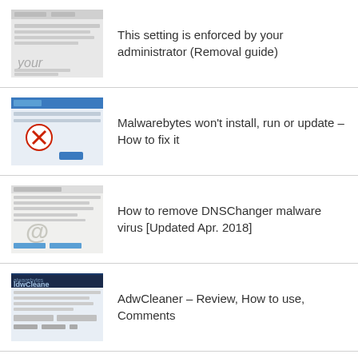[Figure (screenshot): Screenshot thumbnail of a browser settings page with text 'your']
This setting is enforced by your administrator (Removal guide)
[Figure (screenshot): Screenshot thumbnail showing a Malwarebytes error dialog with a red X icon]
Malwarebytes won't install, run or update – How to fix it
[Figure (screenshot): Screenshot thumbnail of DNSChanger malware removal article with '@' symbol watermark]
How to remove DNSChanger malware virus [Updated Apr. 2018]
[Figure (screenshot): Screenshot thumbnail of AdwCleaner article with dark blue header showing 'alwarebytes ldwCleane']
AdwCleaner – Review, How to use, Comments